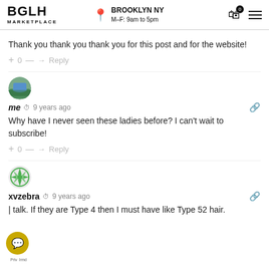BGLH MARKETPLACE | BROOKLYN NY M-F: 9am to 5pm
Thank you thank you thank you for this post and for the website!
+ 0 — → Reply
me · 9 years ago
Why have I never seen these ladies before? I can't wait to subscribe!
+ 0 — → Reply
xvzebra · 9 years ago
| talk. If they are Type 4 then I must have like Type 52 hair.